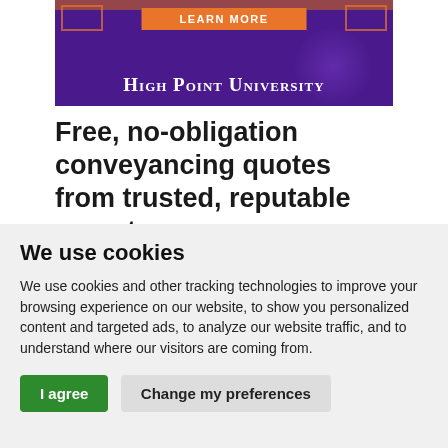[Figure (screenshot): High Point University advertisement banner with purple background, orange 'LEARN MORE' button, decorative orange corner frames, and white serif university name text]
Free, no-obligation conveyancing quotes from trusted, reputable experts.
We use cookies
We use cookies and other tracking technologies to improve your browsing experience on our website, to show you personalized content and targeted ads, to analyze our website traffic, and to understand where our visitors are coming from.
I agree  Change my preferences